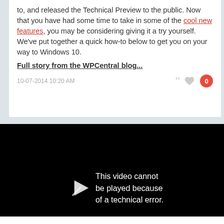to, and released the Technical Preview to the public. Now that you have had some time to take in some of the cool new features, you may be considering giving it a try yourself.
We've put together a quick how-to below to get you on your way to Windows 10.
Full story from the WPCentral blog...
10-07-2014 10:20 AM
[Figure (screenshot): Black video player area showing error message: 'This video cannot be played because of a technical error.' with a play arrow icon on the left.]